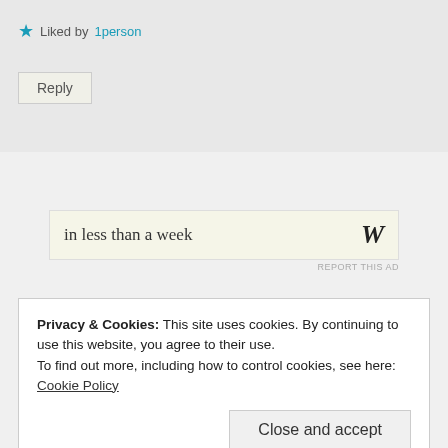★ Liked by 1person
Reply
[Figure (screenshot): Advertisement banner showing 'in less than a week' text with a W logo]
REPORT THIS AD
Privacy & Cookies: This site uses cookies. By continuing to use this website, you agree to their use. To find out more, including how to control cookies, see here: Cookie Policy
Close and accept